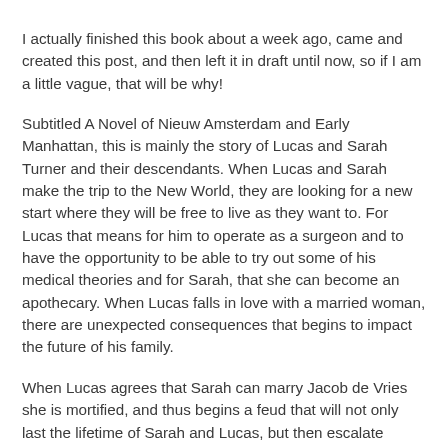I actually finished this book about a week ago, came and created this post, and then left it in draft until now, so if I am a little vague, that will be why!
Subtitled A Novel of Nieuw Amsterdam and Early Manhattan, this is mainly the story of Lucas and Sarah Turner and their descendants. When Lucas and Sarah make the trip to the New World, they are looking for a new start where they will be free to live as they want to. For Lucas that means for him to operate as a surgeon and to have the opportunity to be able to try out some of his medical theories and for Sarah, that she can become an apothecary. When Lucas falls in love with a married woman, there are unexpected consequences that begins to impact the future of his family.
When Lucas agrees that Sarah can marry Jacob de Vries she is mortified, and thus begins a feud that will not only last the lifetime of Sarah and Lucas, but then escalate throughout the generations of their family... although it does have to be said that the next generations are happy to start feuds on